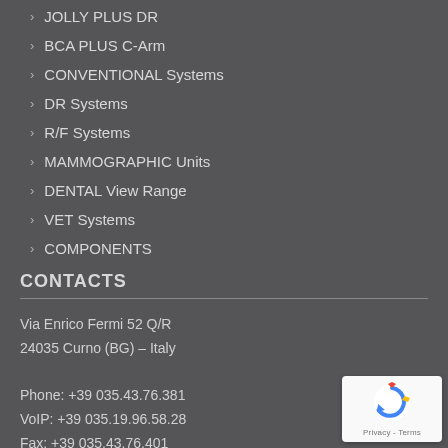JOLLY PLUS DR
BCA PLUS C-Arm
CONVENTIONAL Systems
DR Systems
R/F Systems
MAMMOGRAPHIC Units
DENTAL View Range
VET Systems
COMPONENTS
CONTACTS
Via Enrico Fermi 52 Q/R
24035 Curno (BG) – Italy

Phone: +39 035.43.76.381
VoIP: +39 035.19.96.58.28
Fax: +39 035.43.76.401
[Figure (logo): reCAPTCHA logo with Privacy - Terms text]